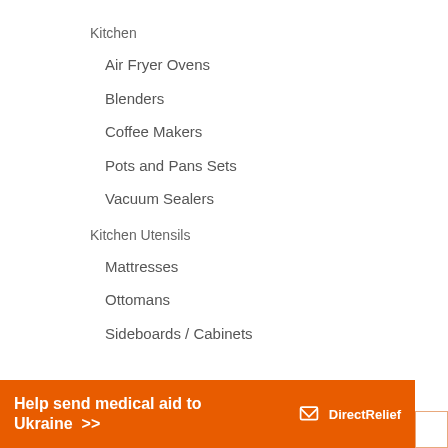Kitchen
Air Fryer Ovens
Blenders
Coffee Makers
Pots and Pans Sets
Vacuum Sealers
Kitchen Utensils
Mattresses
Ottomans
Sideboards / Cabinets
[Figure (infographic): Orange banner ad: 'Help send medical aid to Ukraine >>' with Direct Relief logo on the right]